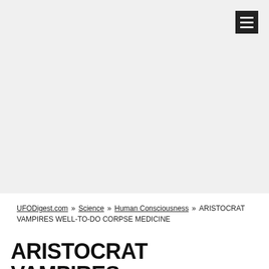[Figure (other): Gray placeholder/banner area at top of page]
☰ (hamburger menu icon)
UFODigest.com » Science » Human Consciousness » ARISTOCRAT VAMPIRES WELL-TO-DO CORPSE MEDICINE
ARISTOCRAT VAMPIRES